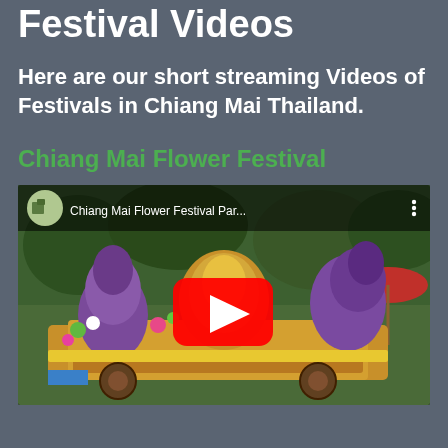Festival Videos
Here are our short streaming Videos of Festivals in Chiang Mai Thailand.
Chiang Mai Flower Festival
[Figure (screenshot): YouTube video embed showing Chiang Mai Flower Festival Par... with a colorful flower parade float, a red YouTube play button in the center, and the video title bar at the top with a circular thumbnail.]